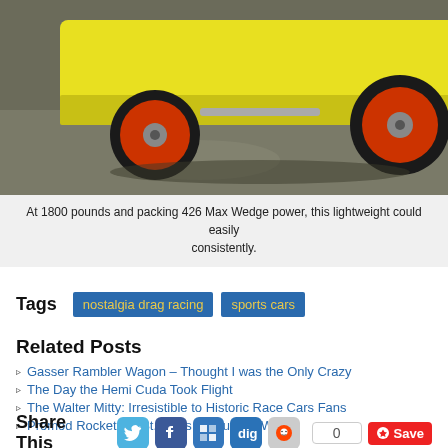[Figure (photo): Yellow race car with red/orange wheels on grey concrete floor, low angle view showing undercarriage and front wheels]
At 1800 pounds and packing 426 Max Wedge power, this lightweight could easily consistently.
Tags  nostalgia drag racing  sports cars
Related Posts
Gasser Rambler Wagon – Thought I was the Only Crazy
The Day the Hemi Cuda Took Flight
The Walter Mitty: Irresistible to Historic Race Cars Fans
Promod Rockets at St. Louis – Coughlin Wins
Share This  0  Save